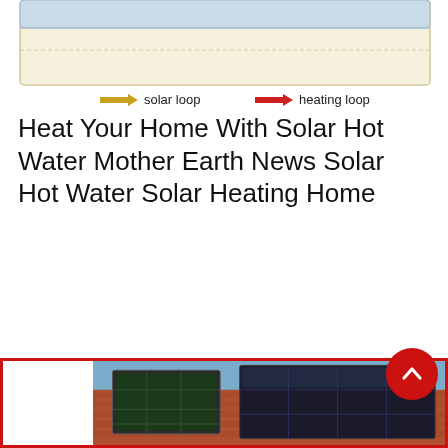[Figure (schematic): Solar hot water heating system diagram showing solar loop (yellow arrow) and heating loop (red arrow) legend at the top of a building cross-section schematic.]
Heat Your Home With Solar Hot Water Mother Earth News Solar Hot Water Solar Heating Home
[Figure (photo): Photograph of solar panels installed on a tiled rooftop, showing both flat plate collectors and photovoltaic panels against a blue sky.]